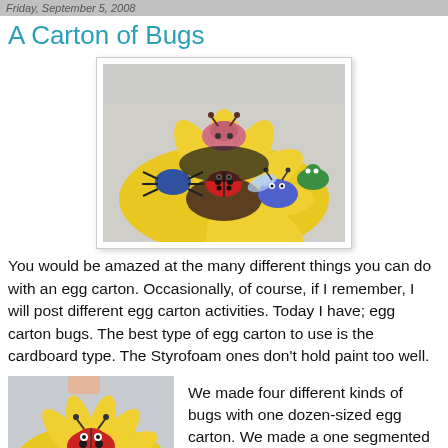Friday, September 5, 2008
A Carton of Bugs
[Figure (photo): Several colorful egg carton bugs arranged on a large artificial yellow flower, including a pink bug, blue spider, red ladybug, blue bee, green bug]
You would be amazed at the many different things you can do with an egg carton. Occasionally, of course, if I remember, I will post different egg carton activities. Today I have; egg carton bugs. The best type of egg carton to use is the cardboard type. The Styrofoam ones don't hold paint too well.
[Figure (photo): A red ladybug made from an egg carton sitting on a large artificial yellow flower]
We made four different kinds of bugs with one dozen-sized egg carton. We made a one segmented bug, ladybug; a